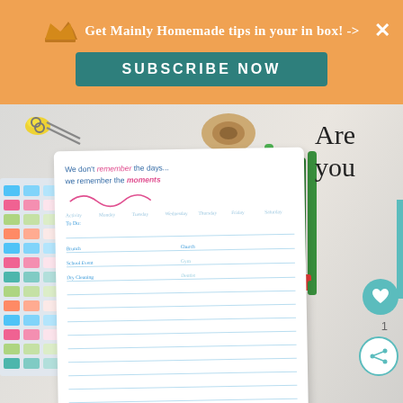Get Mainly Homemade tips in your in box! ->  SUBSCRIBE NOW
[Figure (photo): Photo of a planner/organizer printable on a marble surface with scissors, tape, colored pens and sticker sheets around it. The planner reads 'We don't remember the days... we remember the moments']
Are you struggling trying to stay organized this year? This is always something that is a challenge for me. At the beginning of the year, this is always my New Year’s resolution. “To Get Organized!” So I